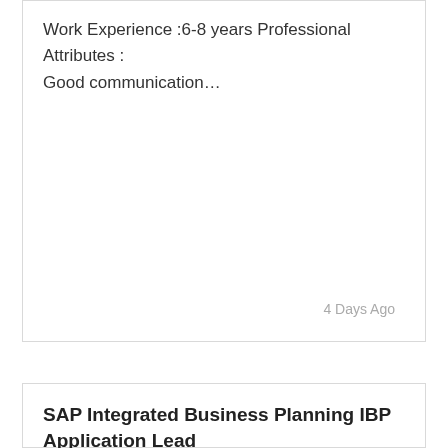Work Experience :6-8 years Professional Attributes : Good communication…
4 Days Ago
SAP Integrated Business Planning IBP Application Lead
4-6 Yrs
₹ Not disclosed
Mumbai
Job Description:
Professional Attributes : 1 Strong analytical,inter personal…